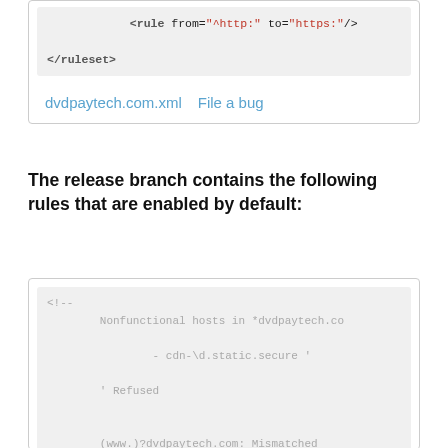<rule from="^http:" to="https:"/>
</ruleset>
dvdpaytech.com.xml   File a bug
The release branch contains the following rules that are enabled by default:
<!--
        Nonfunctional hosts in *dvdpaytech.co
                - cdn-\d.static.secure '
        ' Refused

        (www.)?dvdpaytech.com: Mismatched

        Insecure cookies are set for these do
                - .dvdpaytech.com